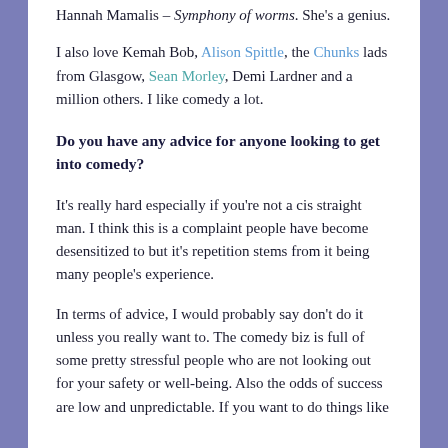Hannah Mamalis – Symphony of worms. She's a genius.
I also love Kemah Bob, Alison Spittle, the Chunks lads from Glasgow, Sean Morley, Demi Lardner and a million others. I like comedy a lot.
Do you have any advice for anyone looking to get into comedy?
It's really hard especially if you're not a cis straight man. I think this is a complaint people have become desensitized to but it's repetition stems from it being many people's experience.
In terms of advice, I would probably say don't do it unless you really want to. The comedy biz is full of some pretty stressful people who are not looking out for your safety or well-being. Also the odds of success are low and unpredictable. If you want to do things like